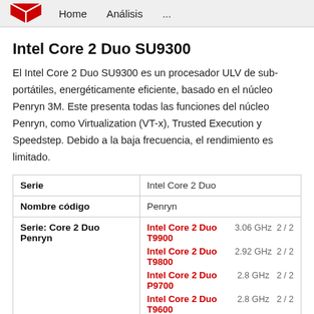Home   Análisis   ...
Intel Core 2 Duo SU9300
El Intel Core 2 Duo SU9300 es un procesador ULV de sub-portátiles, energéticamente eficiente, basado en el núcleo Penryn 3M. Este presenta todas las funciones del núcleo Penryn, como Virtualization (VT-x), Trusted Execution y Speedstep. Debido a la baja frecuencia, el rendimiento es limitado.
|  |  |
| --- | --- |
| Serie | Intel Core 2 Duo |
| Nombre código | Penryn |
| Serie: Core 2 Duo Penryn | Intel Core 2 Duo T9900  3.06 GHz  2/2
Intel Core 2 Duo T9800  2.92 GHz  2/2
Intel Core 2 Duo P9700  2.8 GHz  2/2
Intel Core 2 Duo T9600  2.8 GHz  2/2 |